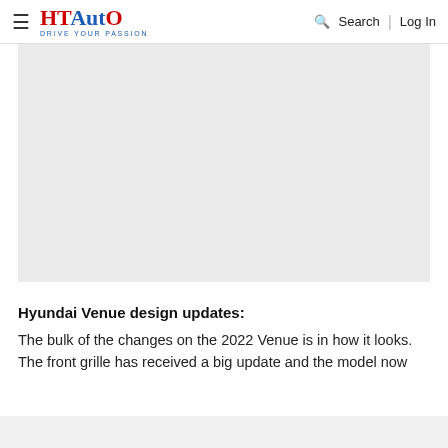HT Auto — Drive Your Passion | Search | Log In
[Figure (photo): Large gray placeholder image area representing a Hyundai Venue photo]
Hyundai Venue design updates:
The bulk of the changes on the 2022 Venue is in how it looks. The front grille has received a big update and the model now